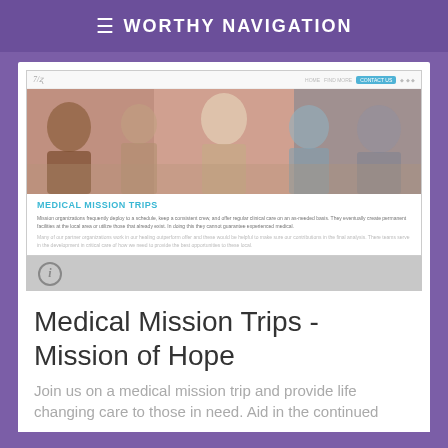Worthy Navigation
[Figure (screenshot): Screenshot of a medical mission trips webpage showing a hero image with people at a medical clinic, a teal heading 'MEDICAL MISSION TRIPS', and body text below. The screenshot also shows an info bar with an info icon at the bottom.]
Medical Mission Trips - Mission of Hope
Join us on a medical mission trip and provide life changing care to those in need. Aid in the continued
Worthy Christian Search is a family-friendly Christian Search engine. Please remember, however, that some of what is considered Christian today contradicts the Word of God. Therefore, when considering sites and information found through